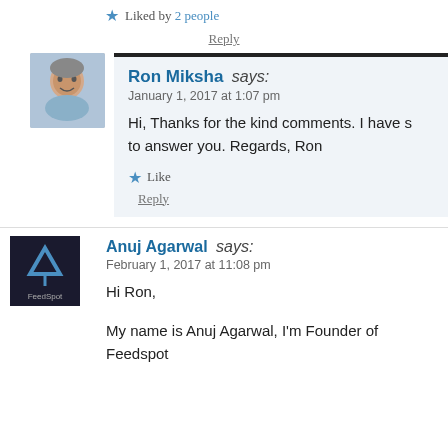★ Liked by 2 people
Reply
Ron Miksha says: January 1, 2017 at 1:07 pm
Hi, Thanks for the kind comments. I have s… to answer you. Regards, Ron
★ Like
Reply
Anuj Agarwal says: February 1, 2017 at 11:08 pm
Hi Ron,
My name is Anuj Agarwal, I'm Founder of Feedspot